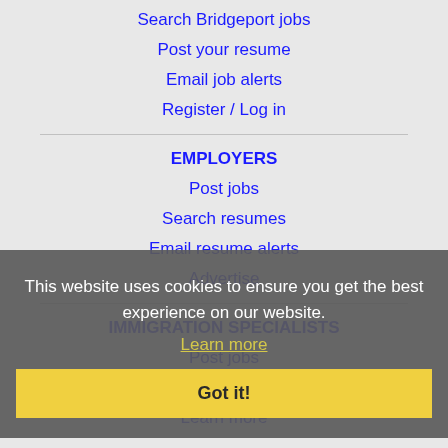Search Bridgeport jobs
Post your resume
Email job alerts
Register / Log in
EMPLOYERS
Post jobs
Search resumes
Email resume alerts
Advertise
IMMIGRATION SPECIALISTS
Post jobs
Immigration FAQs
Learn more
This website uses cookies to ensure you get the best experience on our website.
Learn more
Got it!